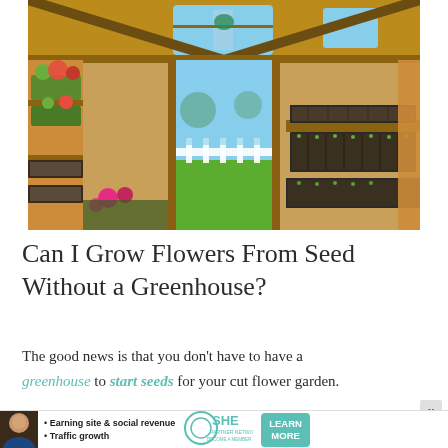[Figure (photo): Interior of a wooden greenhouse with plants, flowers, seedling trays, and a view through the open door to a sunny garden outside.]
Can I Grow Flowers From Seed Without a Greenhouse?
The good news is that you don't have to have a greenhouse to start seeds for your cut flower garden.
[Figure (infographic): Advertisement banner for SHE Media Partner Network with bullet points: Earning site & social revenue, Traffic growth, and a Learn More button.]